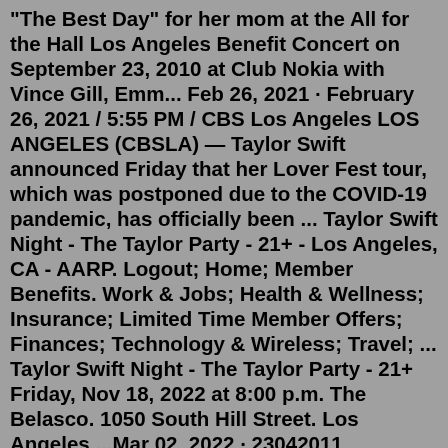"The Best Day" for her mom at the All for the Hall Los Angeles Benefit Concert on September 23, 2010 at Club Nokia with Vince Gill, Emm... Feb 26, 2021 · February 26, 2021 / 5:55 PM / CBS Los Angeles LOS ANGELES (CBSLA) — Taylor Swift announced Friday that her Lover Fest tour, which was postponed due to the COVID-19 pandemic, has officially been ... Taylor Swift Night - The Taylor Party - 21+ - Los Angeles, CA - AARP. Logout; Home; Member Benefits. Work & Jobs; Health & Wellness; Insurance; Limited Time Member Offers; Finances; Technology & Wireless; Travel; ... Taylor Swift Night - The Taylor Party - 21+ Friday, Nov 18, 2022 at 8:00 p.m. The Belasco. 1050 South Hill Street. Los Angeles ...Mar 02, 2022 · 23042011 According to reports the 21-year-old country music singing sensation is close to buying a 355 million home in Los Angeles. The Grammy-winning singer-songwriter has sold her mini-estate in Beverly Hills for 4 million in a deal completed off-market and has. By 2011 Taylor was